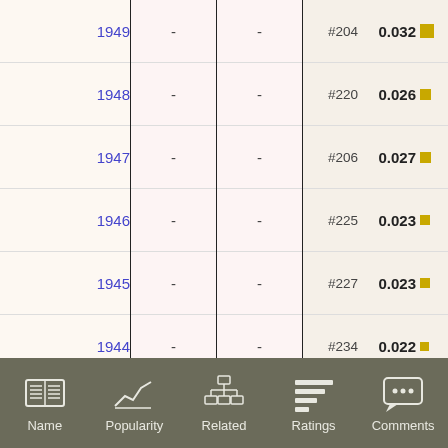| Year |  |  |  | Rank | Value |  |
| --- | --- | --- | --- | --- | --- | --- |
| 1949 | - | - |  | #204 | 0.032 | ■ |
| 1948 | - | - |  | #220 | 0.026 | ■ |
| 1947 | - | - |  | #206 | 0.027 | ■ |
| 1946 | - | - |  | #225 | 0.023 | ■ |
| 1945 | - | - |  | #227 | 0.023 | ■ |
| 1944 | - | - |  | #234 | 0.022 | ■ |
| 1943 | - | - |  | #279 | 0.014 | ■ |
| 1942 | - | - |  | #276 | 0.014 | ■ |
| 1941 | - | - |  | #306 | 0.012 | ■ |
| 1940 | - | - |  | #279 | 0.014 | ■ |
| 1939 | - | - |  | #278 | 0.015 | ■ |
| 1938 | - | - |  | #263 | 0.017 | ■ |
| 1937 | - | - |  | #293 | 0.014 | ■ |
[Figure (infographic): Navigation bar with 5 icons: Name (book), Popularity (line chart), Related (org chart), Ratings (horizontal bars), Comments (speech bubble with dots)]